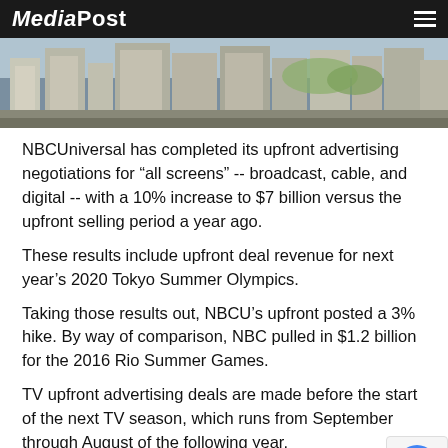MediaPost
[Figure (photo): Aerial view of city buildings / urban skyline]
NBCUniversal has completed its upfront advertising negotiations for “all screens” -- broadcast, cable, and digital -- with a 10% increase to $7 billion versus the upfront selling period a year ago.
These results include upfront deal revenue for next year’s 2020 Tokyo Summer Olympics.
Taking those results out, NBCU’s upfront posted a 3% hike. By way of comparison, NBC pulled in $1.2 billion for the 2016 Rio Summer Games.
TV upfront advertising deals are made before the start of the next TV season, which runs from September through August of the following year.
For its prime-time programming on the NBC Television